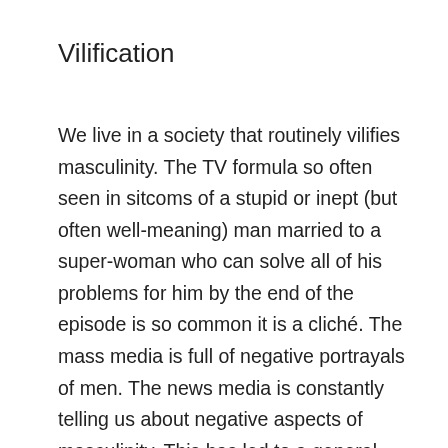Vilification
We live in a society that routinely vilifies masculinity. The TV formula so often seen in sitcoms of a stupid or inept (but often well-meaning) man married to a super-woman who can solve all of his problems for him by the end of the episode is so common it is a cliché. The mass media is full of negative portrayals of men. The news media is constantly telling us about negative aspects of masculinity. This has led to a general conception of men...